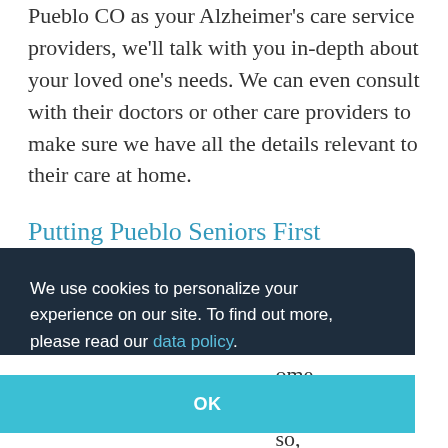Pueblo CO as your Alzheimer's care service providers, we'll talk with you in-depth about your loved one's needs. We can even consult with their doctors or other care providers to make sure we have all the details relevant to their care at home.
Putting Pueblo Seniors First
At Visiting Angels Pueblo CO, our companion [care services provide professional] [... home] [... e] [... so,]
We use cookies to personalize your experience on our site. To find out more, please read our data policy.